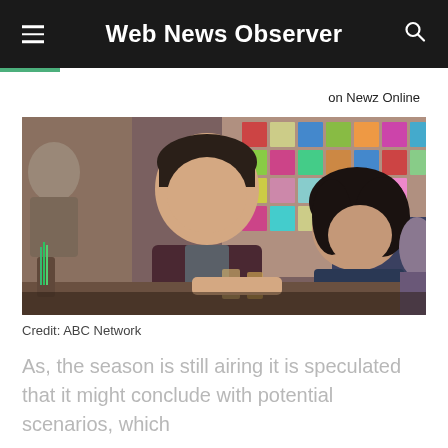Web News Observer
on Newz Online
[Figure (photo): Two actors, a man and a woman, sitting at a bar counter in a TV show scene. The man has dark hair and wears a dark burgundy shirt over a grey t-shirt, smiling and talking. The woman has curly dark hair and sits next to him. The background shows colorful decorative tiles and other bar patrons.]
Credit: ABC Network
As, the season is still airing it is speculated that it might conclude with potential scenarios, which